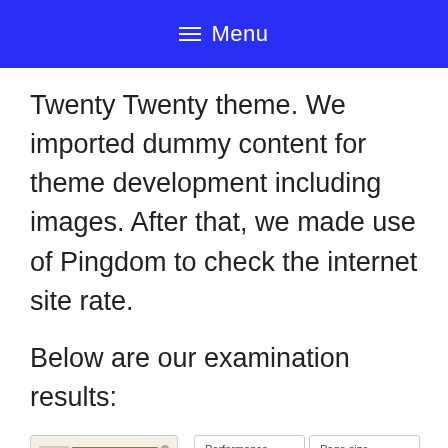Menu
Twenty Twenty theme. We imported dummy content for theme development including images. After that, we made use of Pingdom to check the internet site rate.
Below are our examination results:
[Figure (screenshot): Screenshot of a WordPress site showing Template: Sticky page, alongside Pingdom performance metrics: Performance grade A 91, Page size 197.9 KB, Load time, Requests]